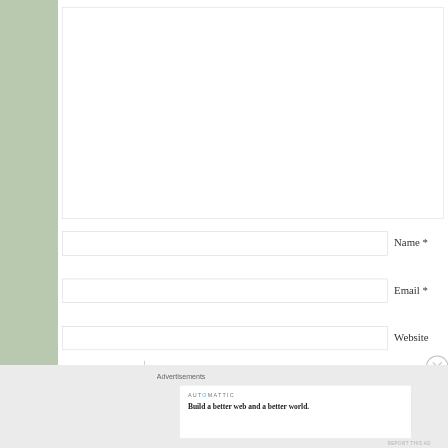[Figure (screenshot): Comment form fields: large textarea at top, then Name, Email, Website input fields with labels to the right]
Name *
Email *
Website
Advertisements
[Figure (logo): AUTOMATTIC logo with blue O]
Build a better web and a better world.